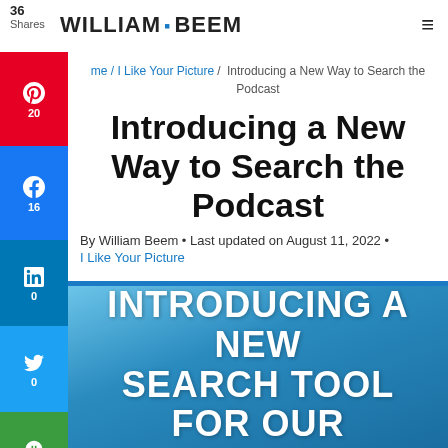36 Shares | WILLIAM BEEM
me / I Like Your Picture / Introducing a New Way to Search the Podcast
Introducing a New Way to Search the Podcast
By William Beem • Last updated on August 11, 2022 • I Like Your Picture
[Figure (illustration): Hero image with blue gradient background and bold white uppercase text reading INTRODUCING A NEW SEARCH TOOL FOR OUR]